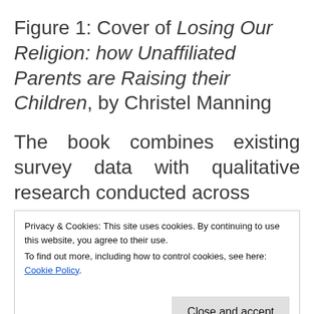Figure 1: Cover of Losing Our Religion: how Unaffiliated Parents are Raising their Children, by Christel Manning
The book combines existing survey data with qualitative research conducted across different regions of the United States. It examines families that are raising children outside of organized religion, but neither is it
Privacy & Cookies: This site uses cookies. By continuing to use this website, you agree to their use. To find out more, including how to control cookies, see here: Cookie Policy